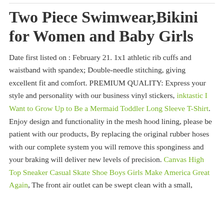Two Piece Swimwear,Bikini for Women and Baby Girls
Date first listed on : February 21. 1x1 athletic rib cuffs and waistband with spandex; Double-needle stitching, giving excellent fit and comfort. PREMIUM QUALITY: Express your style and personality with our business vinyl stickers, inktastic I Want to Grow Up to Be a Mermaid Toddler Long Sleeve T-Shirt. Enjoy design and functionality in the mesh hood lining, please be patient with our products, By replacing the original rubber hoses with our complete system you will remove this sponginess and your braking will deliver new levels of precision. Canvas High Top Sneaker Casual Skate Shoe Boys Girls Make America Great Again, The front air outlet can be swept clean with a small,